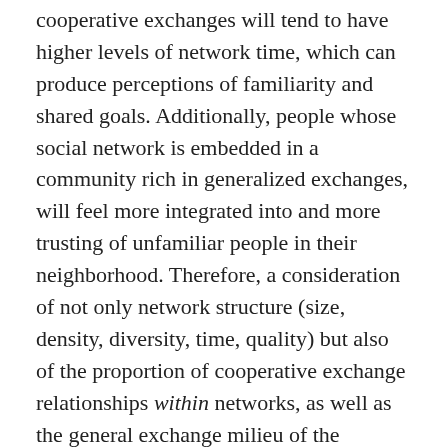cooperative exchanges will tend to have higher levels of network time, which can produce perceptions of familiarity and shared goals. Additionally, people whose social network is embedded in a community rich in generalized exchanges, will feel more integrated into and more trusting of unfamiliar people in their neighborhood. Therefore, a consideration of not only network structure (size, density, diversity, time, quality) but also of the proportion of cooperative exchange relationships within networks, as well as the general exchange milieu of the community (generalized exchange) is important when theoretically modeling outcomes for physical and mental health.
An Integrative Model of Secularity